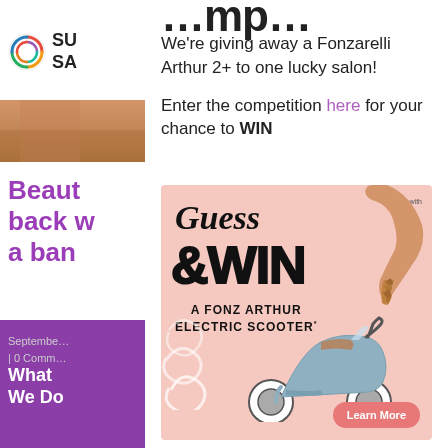[Figure (logo): Circular colorful swirl logo with text SU / SA beside it]
[Figure (photo): Close-up photo of hair/person, partially visible]
Beaut back w a ban
September | 0 Comm
What We Do
We're giving away a Fonzarelli Arthur 2+ to one lucky salon!
Enter the competition here for your chance to WIN
[Figure (infographic): Pink promotional ad image for Guess & WIN a Fonz Arthur Electric Scooter competition, showing a scooter and a person holding a braid, with Learn More button]